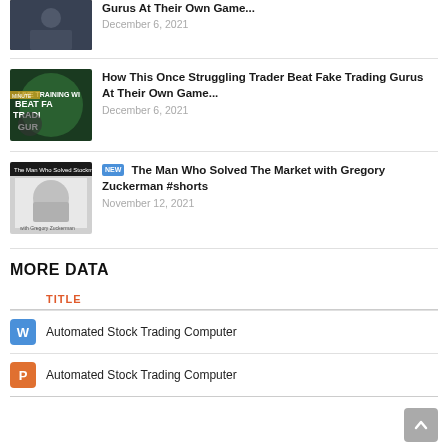[Figure (photo): Thumbnail of person in blue shirt, partially cropped at top]
Gurus At Their Own Game...
December 6, 2021
[Figure (photo): Thumbnail showing 'BEAT FA TRADI GUR' text on dark green background]
How This Once Struggling Trader Beat Fake Trading Gurus At Their Own Game...
December 6, 2021
[Figure (photo): Thumbnail of man with glasses speaking, with 'The Man Who Solved Stockman' overlay]
NEW The Man Who Solved The Market with Gregory Zuckerman #shorts
November 12, 2021
MORE DATA
| TITLE |
| --- |
| Automated Stock Trading Computer |
| Automated Stock Trading Computer |